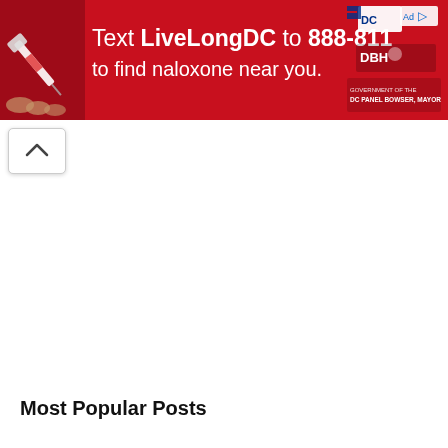[Figure (infographic): Red advertisement banner: Text LiveLongDC to 888-811 to find naloxone near you. Shows a hand holding a naloxone syringe on the left, DC government and DBH logos on the right.]
[Figure (other): Collapse/chevron up button (^) in a white rounded rectangle below the ad banner]
Most Popular Posts